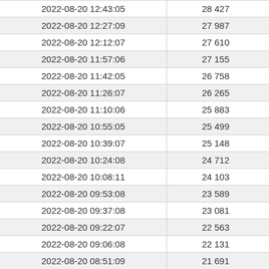| Datetime | Value |
| --- | --- |
| 2022-08-20 12:43:05 | 28 427 |
| 2022-08-20 12:27:09 | 27 987 |
| 2022-08-20 12:12:07 | 27 610 |
| 2022-08-20 11:57:06 | 27 155 |
| 2022-08-20 11:42:05 | 26 758 |
| 2022-08-20 11:26:07 | 26 265 |
| 2022-08-20 11:10:06 | 25 883 |
| 2022-08-20 10:55:05 | 25 499 |
| 2022-08-20 10:39:07 | 25 148 |
| 2022-08-20 10:24:08 | 24 712 |
| 2022-08-20 10:08:11 | 24 103 |
| 2022-08-20 09:53:08 | 23 589 |
| 2022-08-20 09:37:08 | 23 081 |
| 2022-08-20 09:22:07 | 22 563 |
| 2022-08-20 09:06:08 | 22 131 |
| 2022-08-20 08:51:09 | 21 691 |